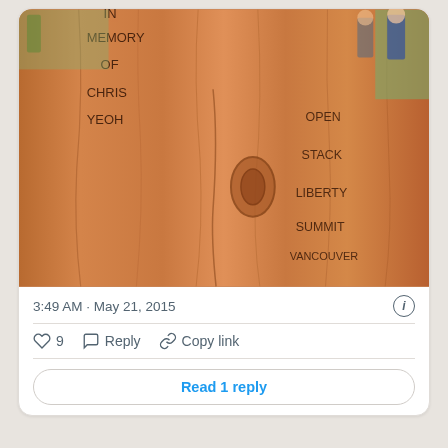[Figure (photo): Photo of a wooden slab/plank with text burned or carved into it. Left side reads 'IN MEMORY OF CHRIS YEOH'. Right side reads 'OPEN STACK LIBERTY SUMMIT VANCOUVER'. People and grass visible in background.]
3:49 AM · May 21, 2015
♡ 9   Reply   Copy link
Read 1 reply